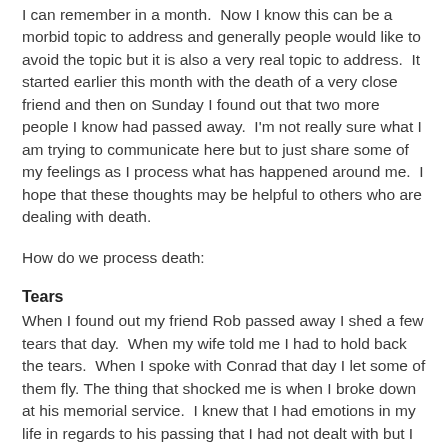I can remember in a month.  Now I know this can be a morbid topic to address and generally people would like to avoid the topic but it is also a very real topic to address.  It started earlier this month with the death of a very close friend and then on Sunday I found out that two more people I know had passed away.  I'm not really sure what I am trying to communicate here but to just share some of my feelings as I process what has happened around me.  I hope that these thoughts may be helpful to others who are dealing with death.
How do we process death:
Tears
When I found out my friend Rob passed away I shed a few tears that day.  When my wife told me I had to hold back the tears.  When I spoke with Conrad that day I let some of them fly. The thing that shocked me is when I broke down at his memorial service.  I knew that I had emotions in my life in regards to his passing that I had not dealt with but I was shocked at the pain inside.  As I think about the truth of Scripture I can only think about how Paul tells us to mourn